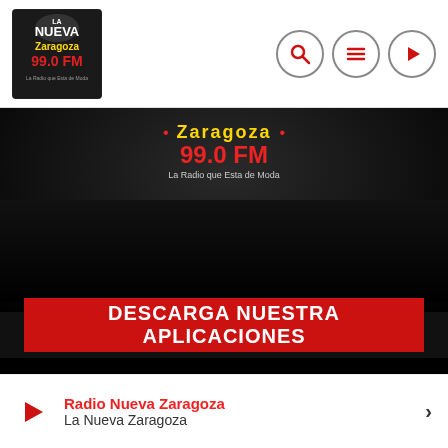[Figure (logo): La Nueva Zaragoza 99.0 FM radio station logo in dark box]
[Figure (infographic): Three circular icon buttons: search (magnifying glass), menu (hamburger lines), play (triangle) with grey outlines on white header]
[Figure (infographic): Dark hero section with Zaragoza 99.0 FM branding and tagline 'La Radio que Esta de Moda' on dark textured background]
DESCARGA NUESTRA APLICACIONES
[Figure (infographic): Four red circular app download buttons: Android (robot), Apple (apple), music note, and TuneIn/plus icon]
Radio Nueva Zaragoza
La Nueva Zaragoza